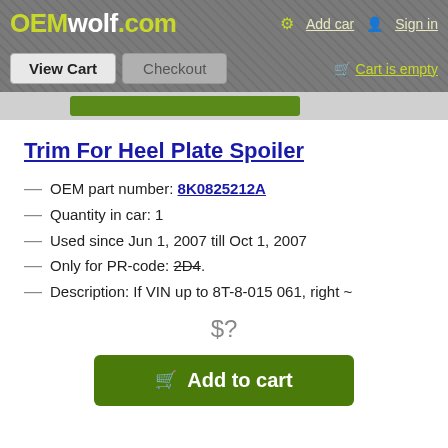OEMwolf.com | Add car | Sign in | View Cart | Checkout | Cart is empty
Trim For Heel Plate Spoiler
OEM part number: 8K0825212A
Quantity in car: 1
Used since Jun 1, 2007 till Oct 1, 2007
Only for PR-code: 2D4.
Description: If VIN up to 8T-8-015 061, right ~
$?
Add to cart